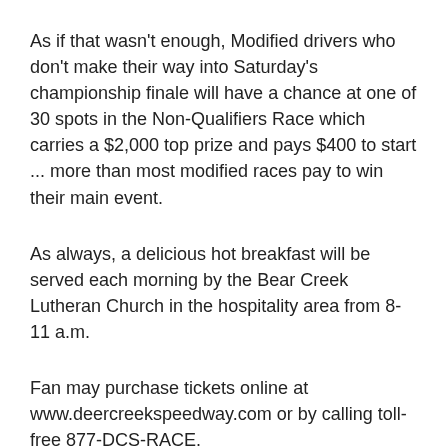As if that wasn't enough, Modified drivers who don't make their way into Saturday's championship finale will have a chance at one of 30 spots in the Non-Qualifiers Race which carries a $2,000 top prize and pays $400 to start ... more than most modified races pay to win their main event.
As always, a delicious hot breakfast will be served each morning by the Bear Creek Lutheran Church in the hospitality area from 8-11 a.m.
Fan may purchase tickets online at www.deercreekspeedway.com or by calling toll-free 877-DCS-RACE.
Drivers can enter by calling the USMTS office at 515-832-7944 or download the official Featherlite Fall Jamboree entry form at www.usmts.com/downloads.